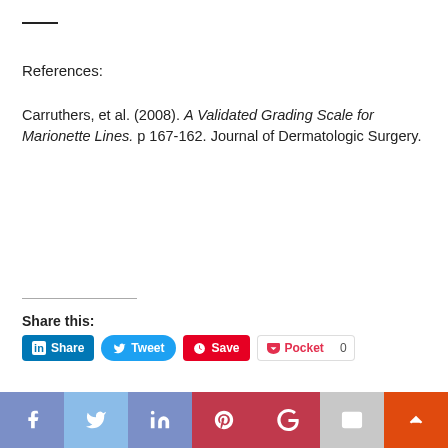References:
Carruthers, et al. (2008). A Validated Grading Scale for Marionette Lines. p 167-162. Journal of Dermatologic Surgery.
Share this:
[Figure (other): Social share buttons: LinkedIn Share, Tweet, Pinterest Save, Pocket with count 0]
[Figure (other): Social media icon bar: Facebook, Twitter, LinkedIn, Pinterest, Google+, Email, scroll-to-top]